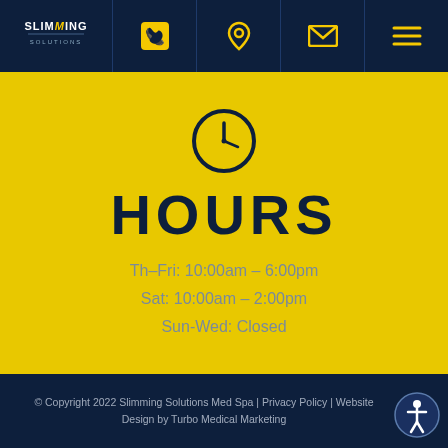Slimming Solutions — navigation bar with phone, location, email, and menu icons
[Figure (illustration): Clock icon (circular clock with hour and minute hands) on yellow background]
HOURS
Th–Fri: 10:00am – 6:00pm
Sat: 10:00am – 2:00pm
Sun-Wed: Closed
© Copyright 2022 Slimming Solutions Med Spa | Privacy Policy | Website Design by Turbo Medical Marketing